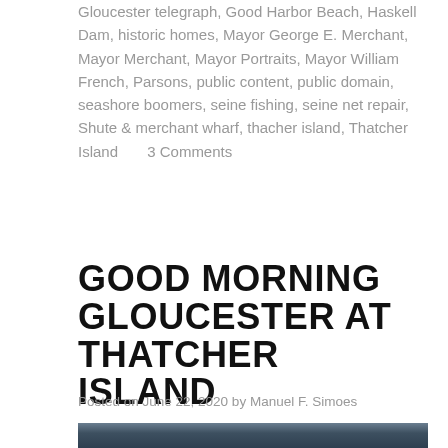Gloucester telegraph, Good Harbor Beach, Haskell Dam, historic homes, Mayor George E. Merchant, Mayor Merchant, Mayor Portraits, Mayor William French, Parsons, public content, public domain, seashore boomers, seine fishing, seine net repair, Shute & merchant wharf, thacher island, Thatcher Island      3 Comments
GOOD MORNING GLOUCESTER AT THATCHER ISLAND
Posted on June 22, 2020 by Manuel F. Simoes
[Figure (photo): Partial view of a lighthouse against a dramatic cloudy sky, dark toned photograph]